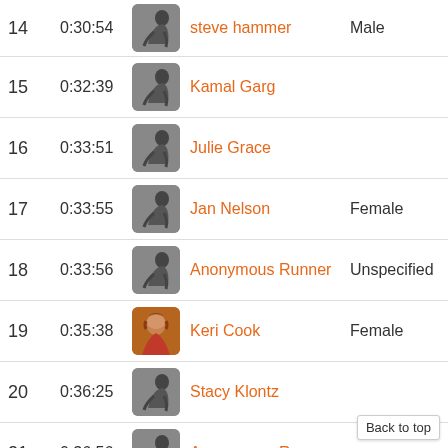| Rank | Time | Avatar | Name | Gender |
| --- | --- | --- | --- | --- |
| 14 | 0:30:54 |  | steve hammer | Male |
| 15 | 0:32:39 |  | Kamal Garg |  |
| 16 | 0:33:51 |  | Julie Grace |  |
| 17 | 0:33:55 |  | Jan Nelson | Female |
| 18 | 0:33:56 |  | Anonymous Runner | Unspecified |
| 19 | 0:35:38 |  | Keri Cook | Female |
| 20 | 0:36:25 |  | Stacy Klontz |  |
| 21 | 0:36:56 |  | Anonymous Runner | Unspecified |